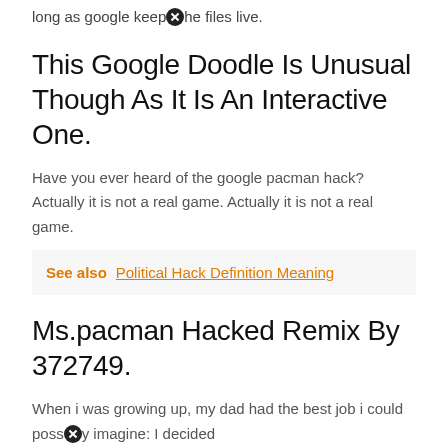long as google keep the files live.
This Google Doodle Is Unusual Though As It Is An Interactive One.
Have you ever heard of the google pacman hack? Actually it is not a real game. Actually it is not a real game.
See also  Political Hack Definition Meaning
Ms.pacman Hacked Remix By 372749.
When i was growing up, my dad had the best job i could possibly imagine: I decided